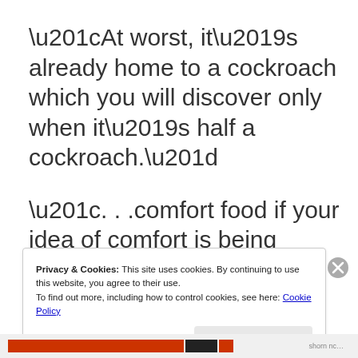“At worst, it’s already home to a cockroach which you will discover only when it’s half a cockroach.”
“. . .comfort food if your idea of comfort is being kicked in
Privacy & Cookies: This site uses cookies. By continuing to use this website, you agree to their use.
To find out more, including how to control cookies, see here: Cookie Policy
Close and accept